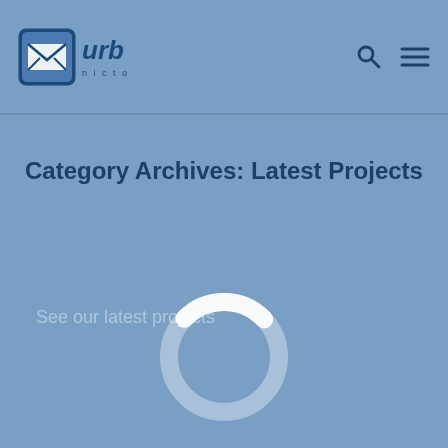urb nicto — navigation header with logo, search icon, and menu icon
Category Archives: Latest Projects
See our latest projects
[Figure (other): A circular loading spinner/preloader with a thick ring, mostly medium blue with a white arc segment at the top-left, indicating loading state]